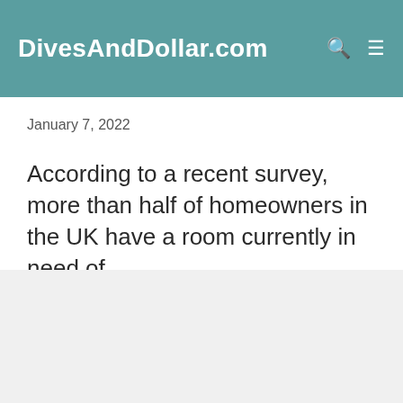DivesAndDollar.com
January 7, 2022
According to a recent survey, more than half of homeowners in the UK have a room currently in need of